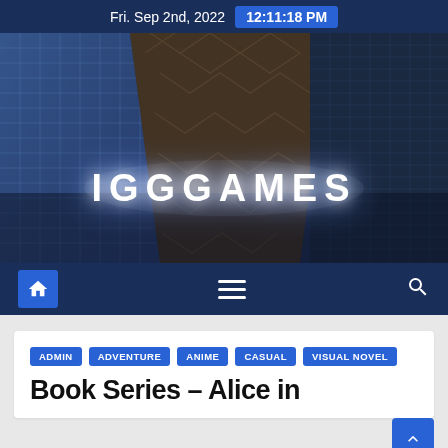Fri. Sep 2nd, 2022  12:11:18 PM
[Figure (screenshot): IGGGAMES website banner showing dark blue skyscrapers and building facades with the IGGGAMES logo text in white glowing letters]
Home navigation bar with home icon, hamburger menu, and search icon
ADMIN
ADVENTURE
ANIME
CASUAL
VISUAL NOVEL
Book Series – Alice in